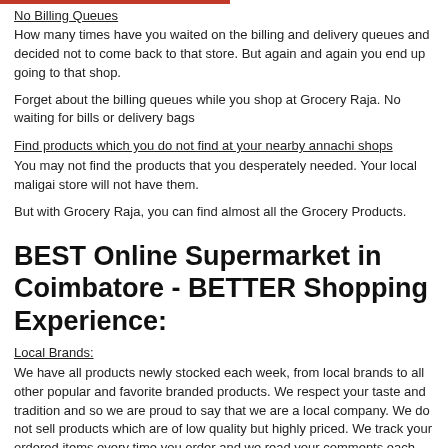No Billing Queues
How many times have you waited on the billing and delivery queues and decided not to come back to that store. But again and again you end up going to that shop.
Forget about the billing queues while you shop at Grocery Raja. No waiting for bills or delivery bags
Find products which you do not find at your nearby annachi shops
You may not find the products that you desperately needed. Your local maligai store will not have them.
But with Grocery Raja, you can find almost all the Grocery Products.
BEST Online Supermarket in Coimbatore - BETTER Shopping Experience:
Local Brands:
We have all products newly stocked each week, from local brands to all other popular and favorite branded products. We respect your taste and tradition and so we are proud to say that we are a local company. We do not sell products which are of low quality but highly priced. We track your ordered items every time you order and we read your comments each day and list your favorite brands in our